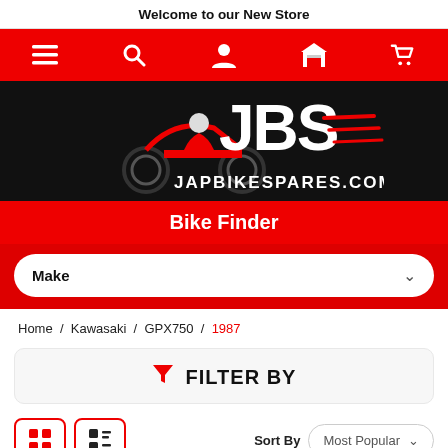Welcome to our New Store
[Figure (screenshot): Red navigation bar with hamburger menu, search, user, garage, and cart icons in white]
[Figure (logo): JBS JapBikeSpares.com logo with motorcycle rider graphic on black background]
Bike Finder
Make (dropdown selector)
Home / Kawasaki / GPX750 / 1987
FILTER BY
Sort By   Most Popular